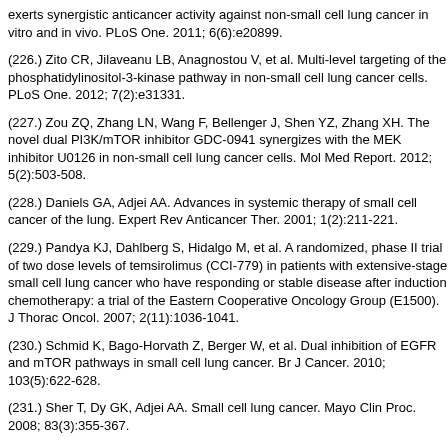exerts synergistic anticancer activity against non-small cell lung cancer in vitro and in vivo. PLoS One. 2011; 6(6):e20899.
(226.) Zito CR, Jilaveanu LB, Anagnostou V, et al. Multi-level targeting of the phosphatidylinositol-3-kinase pathway in non-small cell lung cancer cells. PLoS One. 2012; 7(2):e31331.
(227.) Zou ZQ, Zhang LN, Wang F, Bellenger J, Shen YZ, Zhang XH. The novel dual PI3K/mTOR inhibitor GDC-0941 synergizes with the MEK inhibitor U0126 in non-small cell lung cancer cells. Mol Med Report. 2012; 5(2):503-508.
(228.) Daniels GA, Adjei AA. Advances in systemic therapy of small cell cancer of the lung. Expert Rev Anticancer Ther. 2001; 1(2):211-221.
(229.) Pandya KJ, Dahlberg S, Hidalgo M, et al. A randomized, phase II trial of two dose levels of temsirolimus (CCI-779) in patients with extensive-stage small cell lung cancer who have responding or stable disease after induction chemotherapy: a trial of the Eastern Cooperative Oncology Group (E1500). J Thorac Oncol. 2007; 2(11):1036-1041.
(230.) Schmid K, Bago-Horvath Z, Berger W, et al. Dual inhibition of EGFR and mTOR pathways in small cell lung cancer. Br J Cancer. 2010; 103(5):622-628.
(231.) Sher T, Dy GK, Adjei AA. Small cell lung cancer. Mayo Clin Proc. 2008; 83(3):355-367.
(232.) Tarhini A, Kotsakis A, Gooding W, et al. Phase II study of everolimus